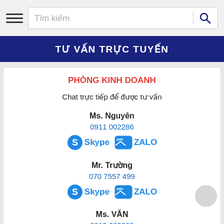Tìm kiếm
TƯ VẤN TRỰC TUYẾN
PHÒNG KINH DOANH
Chat trực tiếp để được tư vấn
Ms. Nguyên
0911 002286
Skype ZALO
Mr. Trường
070 7557 499
Skype ZALO
Ms. VĂN
0919 680069